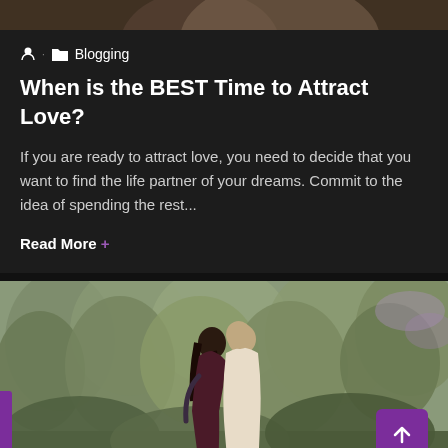[Figure (photo): Partial top strip showing a person, likely a portrait photo cropped at the bottom]
Blogging
When is the BEST Time to Attract Love?
If you are ready to attract love, you need to decide that you want to find the life partner of your dreams. Commit to the idea of spending the rest...
Read More +
[Figure (photo): Outdoor photo of a couple embracing in front of lush green trees and foliage, woman with dark hair and tattoos in a dark dress, man in white shirt]